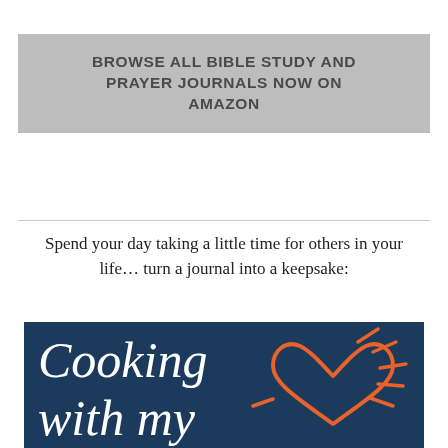BROWSE ALL BIBLE STUDY AND PRAYER JOURNALS NOW ON AMAZON
Spend your day taking a little time for others in your life... turn a journal into a keepsake:
[Figure (illustration): Dark navy blue book/journal cover with cursive white text reading 'Cooking with my' and an orange illustrated heart with radiating lines on the right side]